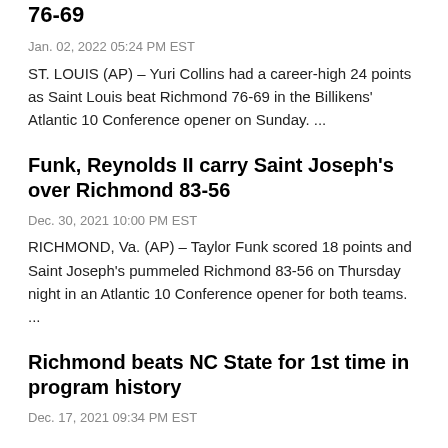76-69
Jan. 02, 2022 05:24 PM EST
ST. LOUIS (AP) – Yuri Collins had a career-high 24 points as Saint Louis beat Richmond 76-69 in the Billikens' Atlantic 10 Conference opener on Sunday. ...
Funk, Reynolds II carry Saint Joseph's over Richmond 83-56
Dec. 30, 2021 10:00 PM EST
RICHMOND, Va. (AP) – Taylor Funk scored 18 points and Saint Joseph's pummeled Richmond 83-56 on Thursday night in an Atlantic 10 Conference opener for both teams. ...
Richmond beats NC State for 1st time in program history
Dec. 17, 2021 09:34 PM EST